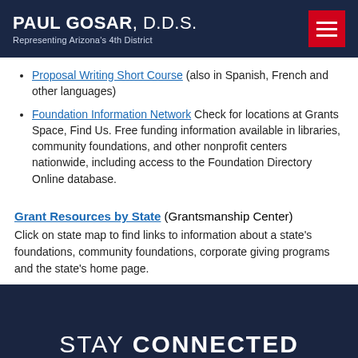PAUL GOSAR, D.D.S. Representing Arizona's 4th District
Proposal Writing Short Course (also in Spanish, French and other languages)
Foundation Information Network Check for locations at Grants Space, Find Us. Free funding information available in libraries, community foundations, and other nonprofit centers nationwide, including access to the Foundation Directory Online database.
Grant Resources by State (Grantsmanship Center) Click on state map to find links to information about a state's foundations, community foundations, corporate giving programs and the state's home page.
STAY CONNECTED